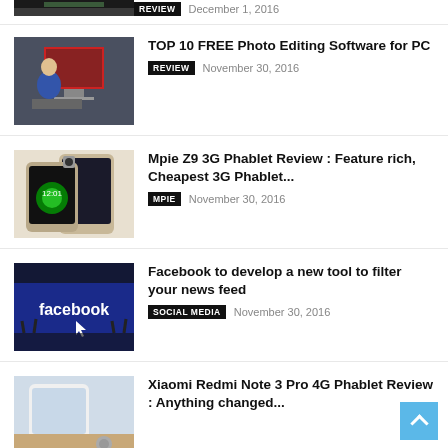[Figure (photo): Clipped top of dark image, partially visible]
REVIEW   December 1, 2016
[Figure (photo): Person sitting at computer editing photos]
TOP 10 FREE Photo Editing Software for PC
REVIEW   November 30, 2016
[Figure (photo): Mpie Z9 3G Phablet phone]
Mpie Z9 3G Phablet Review : Feature rich, Cheapest 3G Phablet...
MPIE   November 30, 2016
[Figure (photo): Facebook logo with crowd silhouettes on blue background]
Facebook to develop a new tool to filter your news feed
SOCIAL MEDIA   November 30, 2016
[Figure (photo): Xiaomi Redmi Note 3 Pro phone]
Xiaomi Redmi Note 3 Pro 4G Phablet Review : Anything changed...